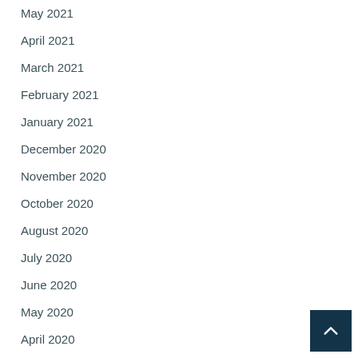May 2021
April 2021
March 2021
February 2021
January 2021
December 2020
November 2020
October 2020
August 2020
July 2020
June 2020
May 2020
April 2020